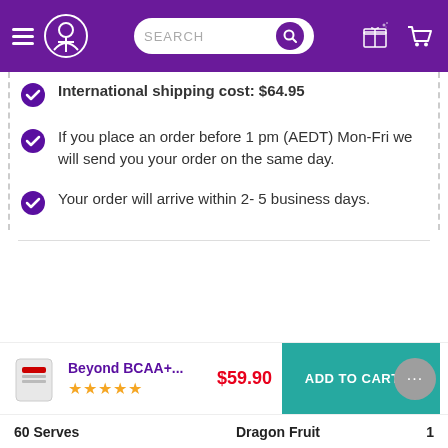[Figure (screenshot): Navigation bar with hamburger menu, logo, search bar, gift icon, and cart icon (0 items) on purple background]
International shipping cost: $64.95
If you place an order before 1 pm (AEDT) Mon-Fri we will send you your order on the same day.
Your order will arrive within 2- 5 business days.
Beyond BCAA+... $59.90 ★★★★★
ADD TO CART →
60 Serves   Dragon Fruit   1